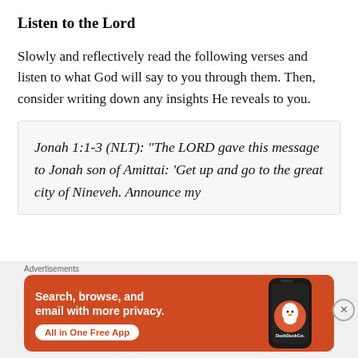Listen to the Lord
Slowly and reflectively read the following verses and listen to what God will say to you through them. Then, consider writing down any insights He reveals to you.
Jonah 1:1-3 (NLT): “The LORD gave this message to Jonah son of Amittai: ‘Get up and go to the great city of Nineveh. Announce my
[Figure (screenshot): DuckDuckGo advertisement banner with orange background showing 'Search, browse, and email with more privacy. All in One Free App' with a phone image and DuckDuckGo logo]
Advertisements